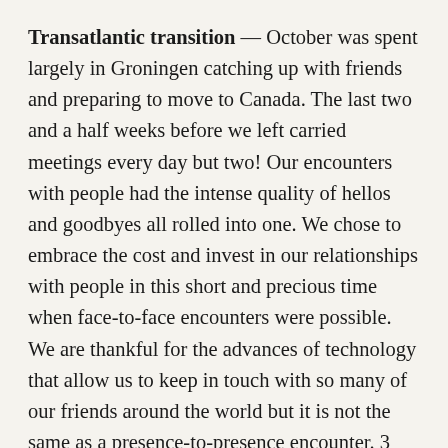Transatlantic transition — October was spent largely in Groningen catching up with friends and preparing to move to Canada. The last two and a half weeks before we left carried meetings every day but two! Our encounters with people had the intense quality of hellos and goodbyes all rolled into one. We chose to embrace the cost and invest in our relationships with people in this short and precious time when face-to-face encounters were possible. We are thankful for the advances of technology that allow us to keep in touch with so many of our friends around the world but it is not the same as a presence-to-presence encounter. 3 November 2004 was a very long day for us—over 24 hours— and marked our move from the 'old' world to the 'new'. Vancouver welcomed us with